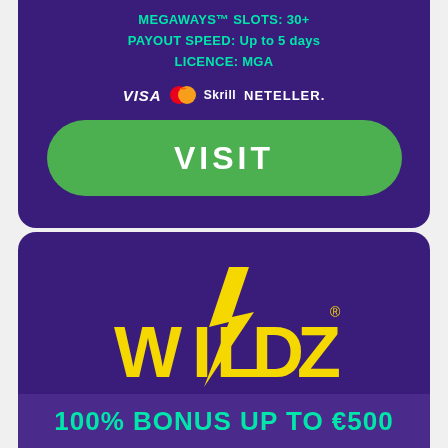MEGAWAYS™ SLOTS: 30+
PAYOUT SPEED: Up to 5 days
LICENCE: MGA
[Figure (logo): Payment icons: VISA, Mastercard, Skrill, NETELLER]
VISIT
[Figure (logo): Wildz Casino logo in yellow with lightning bolt design on purple background]
Wildz Casino
100% BONUS UP TO €500